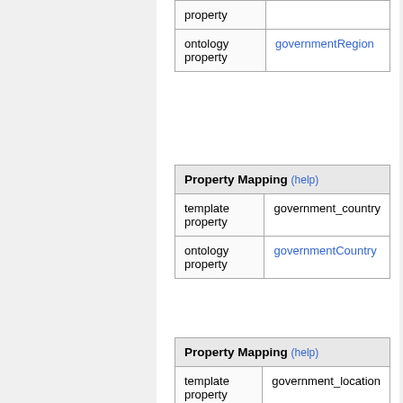|  |  |
| --- | --- |
| ontology property | governmentRegion |
| Property Mapping (help) |  |
| --- | --- |
| template property | government_country |
| ontology property | governmentCountry |
| Property Mapping (help) |  |
| --- | --- |
| template property | government_location |
| ontology property |  |